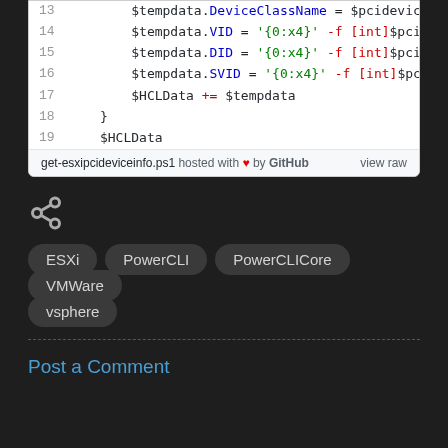[Figure (screenshot): Code snippet showing PowerShell script lines 13-19: setting tempdata properties VID, DID, SVID using format strings and pcidevice properties, incrementing HCLData, closing brace, and returning HCLData. GitHub gist footer with filename get-esxipcideviceinfo.ps1.]
ESXi
PowerCLI
PowerCLICore
VMWare
vsphere
Post a Comment